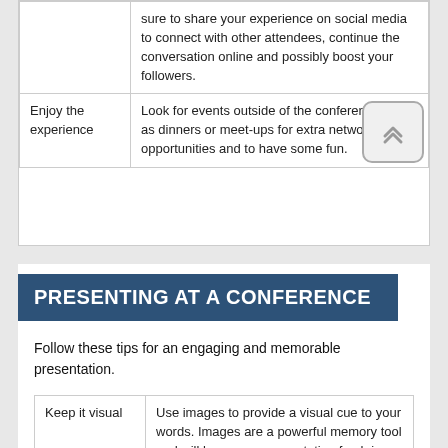|  |  |
| --- | --- |
|  | sure to share your experience on social media to connect with other attendees, continue the conversation online and possibly boost your followers. |
| Enjoy the experience | Look for events outside of the conference such as dinners or meet-ups for extra networking opportunities and to have some fun. |
PRESENTING AT A CONFERENCE
Follow these tips for an engaging and memorable presentation.
|  |  |
| --- | --- |
| Keep it visual | Use images to provide a visual cue to your words. Images are a powerful memory tool and will keep your presentation fresh in attendees minds. Avoid putting too much text |